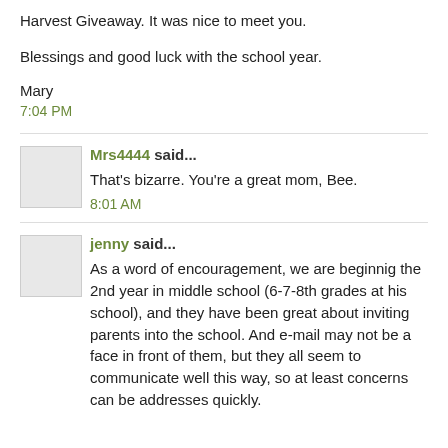Harvest Giveaway. It was nice to meet you.
Blessings and good luck with the school year.
Mary
7:04 PM
Mrs4444 said...
That's bizarre. You're a great mom, Bee.
8:01 AM
jenny said...
As a word of encouragement, we are beginnig the 2nd year in middle school (6-7-8th grades at his school), and they have been great about inviting parents into the school. And e-mail may not be a face in front of them, but they all seem to communicate well this way, so at least concerns can be addresses quickly.